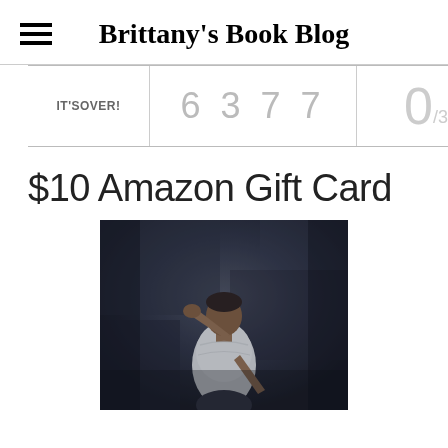Brittany's Book Blog
IT'S OVER! 6 3 7 7 0/39
$10 Amazon Gift Card
[Figure (photo): A man in a white t-shirt leaning against a dark textured wall, hand on his head, in a dramatic moody photo]